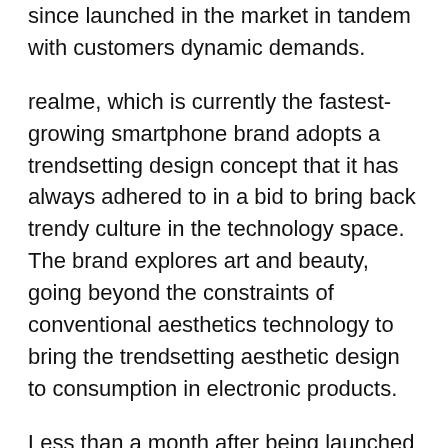since launched in the market in tandem with customers dynamic demands.
realme, which is currently the fastest-growing smartphone brand adopts a trendsetting design concept that it has always adhered to in a bid to bring back trendy culture in the technology space. The brand explores art and beauty, going beyond the constraints of conventional aesthetics technology to bring the trendsetting aesthetic design to consumption in electronic products.
Less than a month after being launched in the Kenyan market, realme C15 is gaining momentum with its unique features and design, for an entry-level smartphone, as well as its affordability with the 64GB going for 16,999 shillings while the128GB  going for 19,999 shillings, thus redefining the whole smartphone experience in its category.